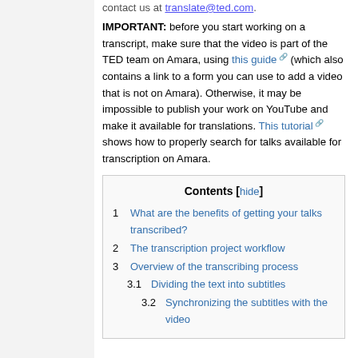IMPORTANT: before you start working on a transcript, make sure that the video is part of the TED team on Amara, using this guide (which also contains a link to a form you can use to add a video that is not on Amara). Otherwise, it may be impossible to publish your work on YouTube and make it available for translations. This tutorial shows how to properly search for talks available for transcription on Amara.
| Contents [hide] |
| 1  What are the benefits of getting your talks transcribed? |
| 2  The transcription project workflow |
| 3  Overview of the transcribing process |
| 3.1  Dividing the text into subtitles |
| 3.2  Synchronizing the subtitles with the video |